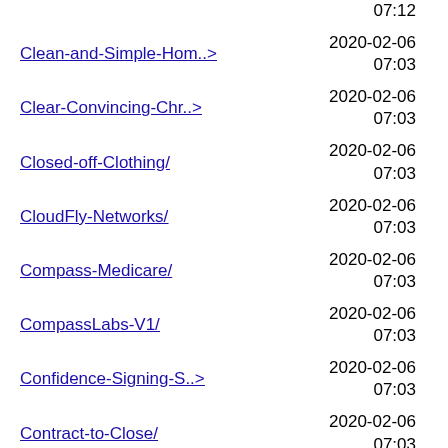| Name | Date | Size |
| --- | --- | --- |
| Clean-and-Simple-Hom..> | 2020-02-06 07:03 | - |
| Clear-Convincing-Chr..> | 2020-02-06 07:03 | - |
| Closed-off-Clothing/ | 2020-02-06 07:03 | - |
| CloudFly-Networks/ | 2020-02-06 07:03 | - |
| Compass-Medicare/ | 2020-02-06 07:03 | - |
| CompassLabs-V1/ | 2020-02-06 07:03 | - |
| Confidence-Signing-S..> | 2020-02-06 07:03 | - |
| Contract-to-Close/ | 2020-02-06 07:03 | - |
| Cool-katz-cuts-v1/ | 2020-02-06 07:03 | - |
| Cool-katz-cuts-v2/ | 2020-02-06 07:03 | - |
| Cool-katz-cuts/ | 2020-02-06 07:03 | - |